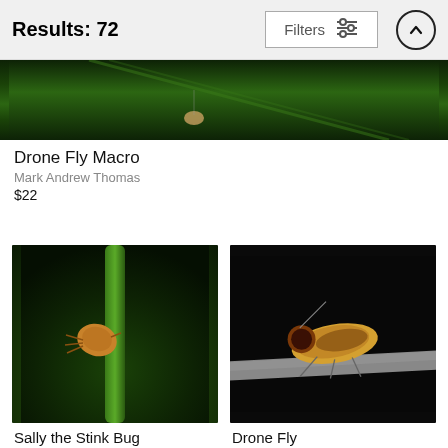Results: 72
[Figure (photo): Partial crop of a macro insect photo on a green leaf background (Drone Fly Macro)]
Drone Fly Macro
Mark Andrew Thomas
$22
[Figure (photo): Sally the Stink Bug - a brown shield bug clinging to a green plant stem against dark background]
Sally the Stink Bug
Mark Andrew Tho...
$22
[Figure (photo): Drone Fly - a bee-like fly perched on a tree branch against black background]
Drone Fly
Mark Andrew Thomas
$22